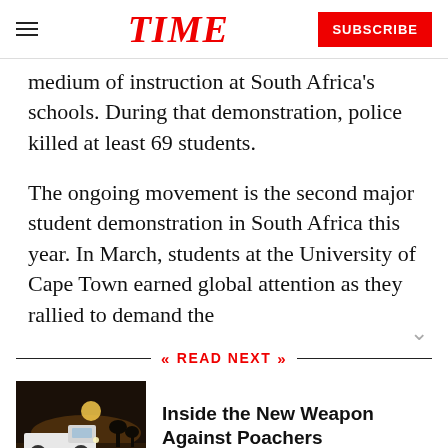TIME | SUBSCRIBE
medium of instruction at South Africa’s schools. During that demonstration, police killed at least 69 students.
The ongoing movement is the second major student demonstration in South Africa this year. In March, students at the University of Cape Town earned global attention as they rallied to demand the
« READ NEXT »
[Figure (photo): Dark nighttime photo of a white truck/vehicle in a dusty field]
Inside the New Weapon Against Poachers